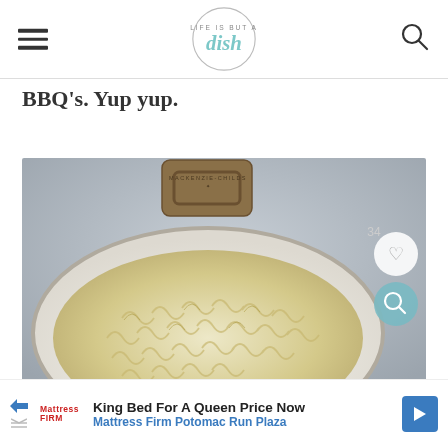Life is but a dish (logo with hamburger menu and search icon)
BBQ's. Yup yup.
[Figure (photo): Overhead view of a white enamel pan with a bronze handle (MacKenzie-Childs) filled with rotini pasta, on a gray background. A heart button with count 34 and a search button overlay on the right side of the image.]
King Bed For A Queen Price Now
Mattress Firm Potomac Run Plaza